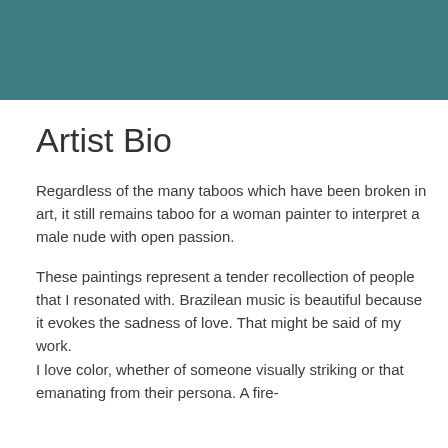[Figure (other): Teal/dark cyan colored header bar spanning the full width of the page]
Artist Bio
Regardless of the many taboos which have been broken in art, it still remains taboo for a woman painter to interpret a male nude with open passion.
These paintings represent a tender recollection of people that I resonated with. Brazilean music is beautiful because it evokes the sadness of love. That might be said of my work. I love color, whether of someone visually striking or that emanating from their persona. A fire-